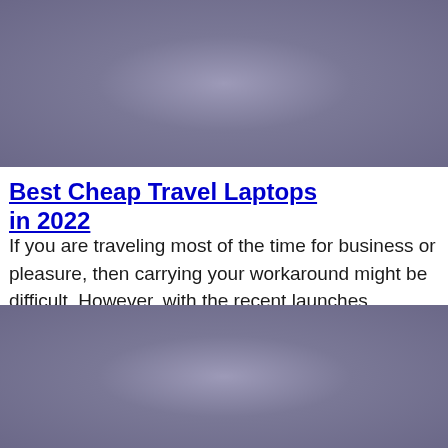[Figure (photo): Top image placeholder with grayish-purple gradient background]
Best Cheap Travel Laptops in 2022
If you are traveling most of the time for business or pleasure, then carrying your workaround might be difficult. However, with the recent launches
[Figure (photo): Bottom image placeholder with grayish-purple gradient background]